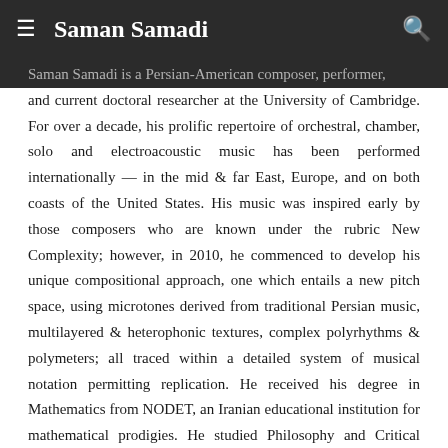≡  Saman Samadi  🔍
Saman Samadi is a Persian-American composer, performer, and current doctoral researcher at the University of Cambridge. For over a decade, his prolific repertoire of orchestral, chamber, solo and electroacoustic music has been performed internationally — in the mid & far East, Europe, and on both coasts of the United States. His music was inspired early by those composers who are known under the rubric New Complexity; however, in 2010, he commenced to develop his unique compositional approach, one which entails a new pitch space, using microtones derived from traditional Persian music, multilayered & heterophonic textures, complex polyrhythms & polymeters; all traced within a detailed system of musical notation permitting replication. He received his degree in Mathematics from NODET, an Iranian educational institution for mathematical prodigies. He studied Philosophy and Critical Thinking at the University of Queensland, and Artistic Research at Orpheus Institute & Leuven University. He